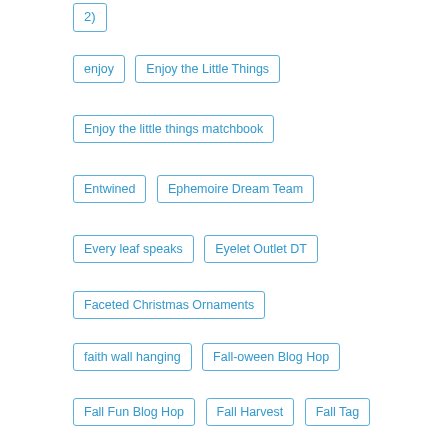2)
enjoy
Enjoy the Little Things
Enjoy the little things matchbook
Entwined
Ephemoire Dream Team
Every leaf speaks
Eyelet Outlet DT
Faceted Christmas Ornaments
faith wall hanging
Fall-oween Blog Hop
Fall Fun Blog Hop
Fall Harvest
Fall Tag
Fall thanks
FarmQuest Challenge Blog Guest Designer
Faux Metal Dangle Earrings
Feel Better